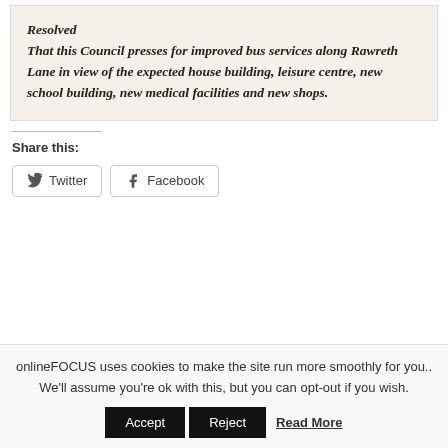Resolved
That this Council presses for improved bus services along Rawreth Lane in view of the expected house building, leisure centre, new school building, new medical facilities and new shops.
Share this:
[Figure (other): Social share buttons: Twitter and Facebook]
onlineFOCUS uses cookies to make the site run more smoothly for you.. We'll assume you're ok with this, but you can opt-out if you wish.